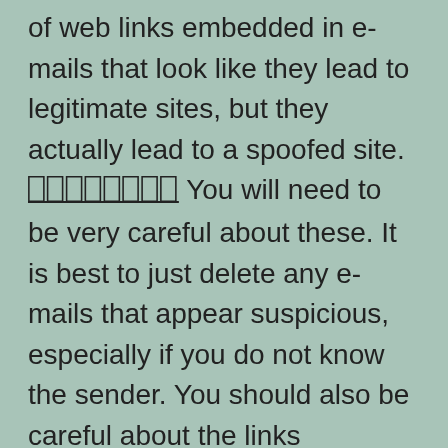Phishing web linksAnother new trick is the use of web links embedded in e-mails that look like they lead to legitimate sites, but they actually lead to a spoofed site.          You will need to be very careful about these. It is best to just delete any e-mails that appear suspicious, especially if you do not know the sender. You should also be careful about the links mentioned in the e-mails. It is best to avoid all financial deals through connection with companies mentioned in the e-mails, as these types of websites are ideal targets for hackers and fraudsters.